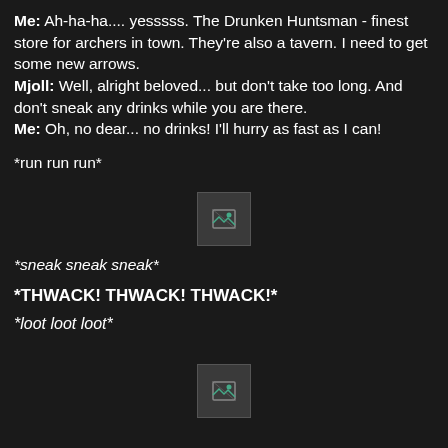Me: Ah-ha-ha.... yesssss. The Drunken Huntsman - finest store for archers in town. They're also a tavern. I need to get some new arrows.
Mjoll: Well, alright beloved... but don't take too long. And don't sneak any drinks while you are there.
Me: Oh, no dear... no drinks! I'll hurry as fast as I can!
*run run run*
[Figure (photo): Broken/missing image placeholder (small thumbnail)]
*sneak sneak sneak*
*THWACK! THWACK! THWACK!*
*loot loot loot*
[Figure (photo): Broken/missing image placeholder (small thumbnail, partially visible at bottom)]